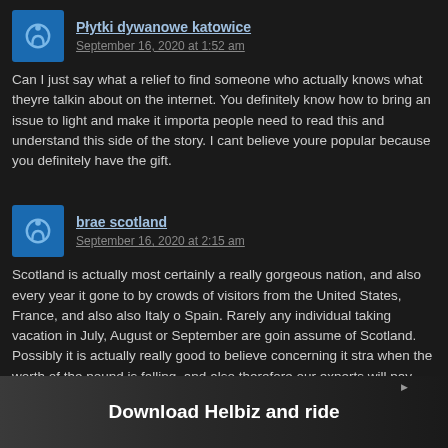Płytki dywanowe katowice
September 16, 2020 at 1:52 am
Can I just say what a relief to find someone who actually knows what theyre talking about on the internet. You definitely know how to bring an issue to light and make it important. More people need to read this and understand this side of the story. I cant believe youre not more popular because you definitely have the gift.
brae scotland
September 16, 2020 at 2:15 am
Scotland is actually most certainly a really gorgeous nation, and also every year it is gone to by crowds of visitors from the United States, France, and also also Italy or Spain. Rarely any individual taking vacation in July, August or September are going to assume of Scotland. Possibly it is actually really good to believe concerning it straight when the worth of the pound is falling, and also therefore our experts will pay less for vacation in Scotland? Glen Affric in very early spring season Why is it worth it? Scotland is mainly a terrific garden in the north of the country. In Scotland, I have actually been able to enjoy seals, dolphins or also deer. But Scotland is likewise a historically fascinating land (who saw Brave Heart?), Where you can explore wonderful rock palaces (Edinburgh, Stirling, Linlithgow, Eilean Donan). The funds itself, the majestic Edinburgh, also draws interest, especially throughout the summertime festivals. national scotland, scottish app Scotland...
[Figure (screenshot): Download Helbiz and ride advertisement overlay at the bottom of the page with a close button]